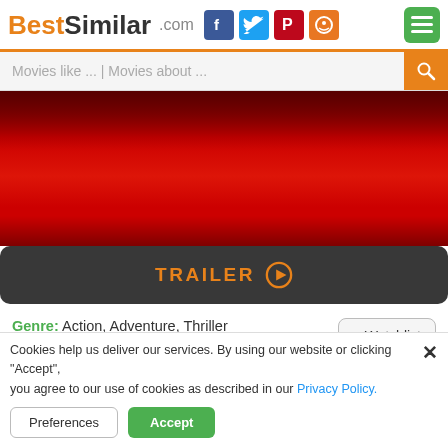BestSimilar.com
[Figure (screenshot): BestSimilar.com movie database website screenshot showing movie page with red movie poster image, trailer button, genre/country/duration info, and story text]
Genre: Action, Adventure, Thriller
Country: USA
Duration: 135 min.
Story: A new Soviet nuclear missile sub (a Boomer) heading out on her maiden voyage that is being tracked by a Los Angeles class American submarine suddenly goes silent and
Cookies help us deliver our services. By using our website or clicking "Accept", you agree to our use of cookies as described in our Privacy Policy.